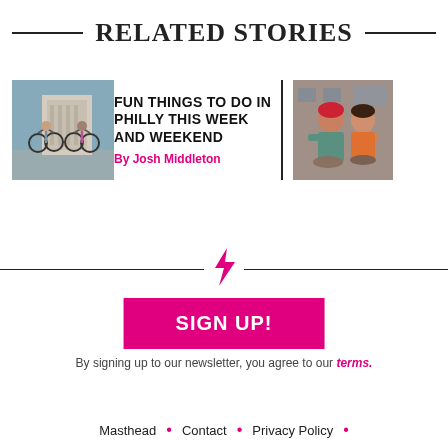RELATED STORIES
[Figure (photo): Cyclists riding on a city street with a large building in the background]
FUN THINGS TO DO IN PHILLY THIS WEEK AND WEEKEND
By Josh Middleton
[Figure (photo): Two women, one wearing a red bandana, at what appears to be an outdoor event]
[Figure (other): Pink lightning bolt icon divider]
SIGN UP!
By signing up to our newsletter, you agree to our terms.
Masthead • Contact • Privacy Policy •